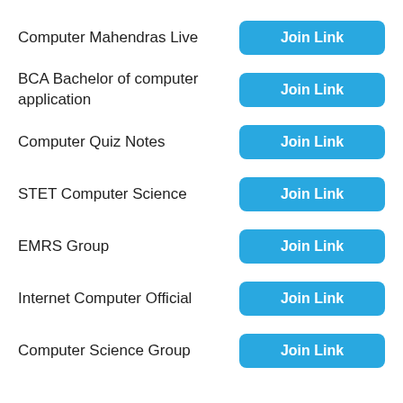Computer Mahendras Live
BCA Bachelor of computer application
Computer Quiz Notes
STET Computer Science
EMRS Group
Internet Computer Official
Computer Science Group